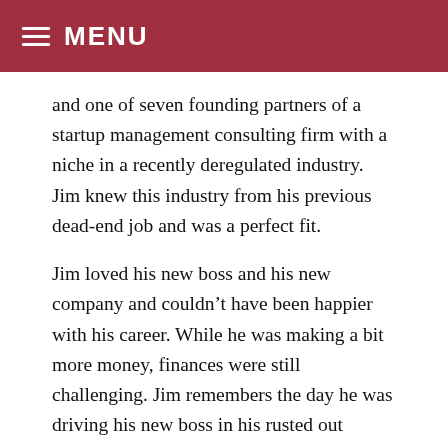MENU
and one of seven founding partners of a startup management consulting firm with a niche in a recently deregulated industry. Jim knew this industry from his previous dead-end job and was a perfect fit.
Jim loved his new boss and his new company and couldn’t have been happier with his career. While he was making a bit more money, finances were still challenging. Jim remembers the day he was driving his new boss in his rusted out Omni, in 90 degrees with no A/C, and his boss turned to him and said, “You’d look great in a Mercedes.” Indeed, at the time, this seemed a most unlikely prospect.